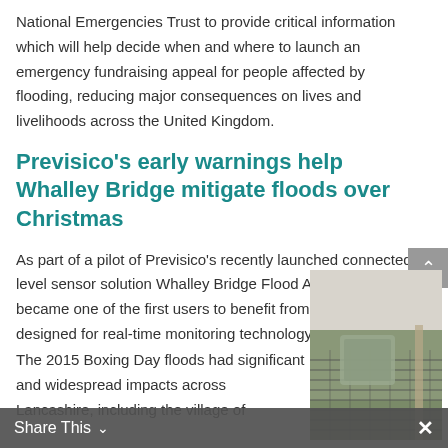National Emergencies Trust to provide critical information which will help decide when and where to launch an emergency fundraising appeal for people affected by flooding, reducing major consequences on lives and livelihoods across the United Kingdom.
Previsico's early warnings help Whalley Bridge mitigate floods over Christmas
As part of a pilot of Previsico's recently launched connected level sensor solution Whalley Bridge Flood Action group became one of the first users to benefit from uniquely designed for real-time monitoring technology.
The 2015 Boxing Day floods had significant and widespread impacts across Lancashire, including the village of
[Figure (photo): Outdoor photo showing a flood sensor or monitoring device mounted near a fence with metal grating, surrounded by vegetation and a parked vehicle in the background.]
Share This ∨  ×